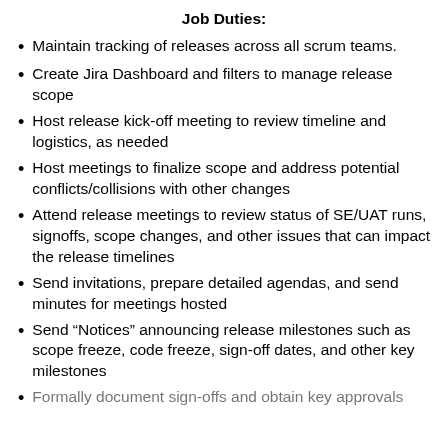Job Duties:
Maintain tracking of releases across all scrum teams.
Create Jira Dashboard and filters to manage release scope
Host release kick-off meeting to review timeline and logistics, as needed
Host meetings to finalize scope and address potential conflicts/collisions with other changes
Attend release meetings to review status of SE/UAT runs, signoffs, scope changes, and other issues that can impact the release timelines
Send invitations, prepare detailed agendas, and send minutes for meetings hosted
Send “Notices” announcing release milestones such as scope freeze, code freeze, sign-off dates, and other key milestones
Formally document sign-offs and obtain key approvals